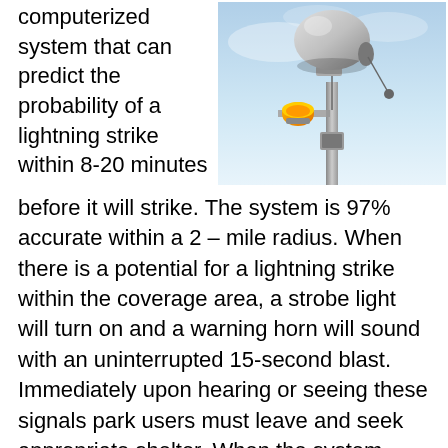computerized system that can predict the probability of a lightning strike within 8-20 minutes
[Figure (photo): A lightning detection warning system mounted on a pole, featuring a dome-shaped sensor at the top and an orange strobe light below, against a blue sky background.]
before it will strike. The system is 97% accurate within a 2 – mile radius. When there is a potential for a lightning strike within the coverage area, a strobe light will turn on and a warning horn will sound with an uninterrupted 15-second blast. Immediately upon hearing or seeing these signals park users must leave and seek appropriate shelter. When the system senses conditions are safe, the strobe light will turn off and the horn will sound three short four-second blasts. Then normal activity may resume. The system